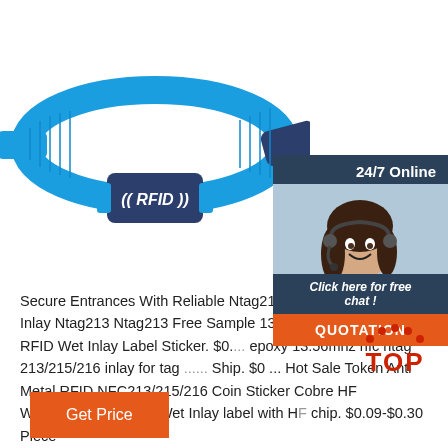[Figure (photo): Blue RFID wristband/bracelet with a dark blue rectangular module labeled '(( RFID ))' in white text. The wristband is blue fabric/silicone on a white background.]
[Figure (photo): Customer service panel in dark blue: '24/7 Online' header, photo of smiling woman with headset, 'Click here for free chat!' text overlay, and orange 'QUOTATION' button.]
Secure Entrances With Reliable Ntag213 Inlay - Alib... Ntag213 Inlay Ntag213 Ntag213 Free Sample 13.56... NFC Tag Ntag213 RFID Wet Inlay Label Sticker. $0.... epoxy 13.56mhz nfc ntag 213/215/216 inlay for tag ... Ship. $0 ... Hot Sale Token Anti Metal RFID NFC213/215/216 Coin Sticker Cobre HF Waterproof Antimetal Wet Inlay label with HF chip. $0.09-$0.30 Piece
[Figure (other): Red 'TOP' text with decorative dots above, serving as a back-to-top button icon.]
Get Price